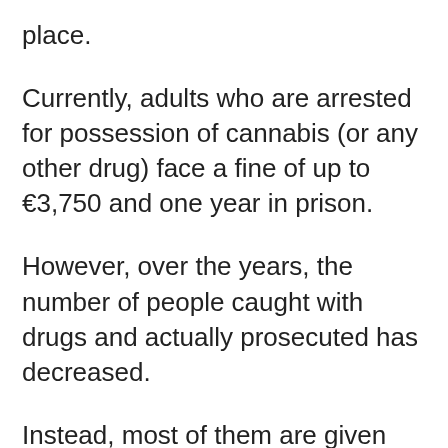place.
Currently, adults who are arrested for possession of cannabis (or any other drug) face a fine of up to €3,750 and one year in prison.
However, over the years, the number of people caught with drugs and actually prosecuted has decreased.
Instead, most of them are given alternative sentences that have been introduced over time. These sentences include a fine fixed by the local judiciary authority, general interest work, or a